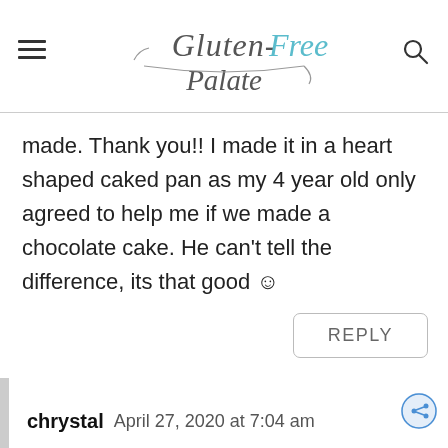Gluten-Free Palate
made. Thank you!! I made it in a heart shaped caked pan as my 4 year old only agreed to help me if we made a chocolate cake. He can't tell the difference, its that good ☺
REPLY
chrystal   April 27, 2020 at 7:04 am